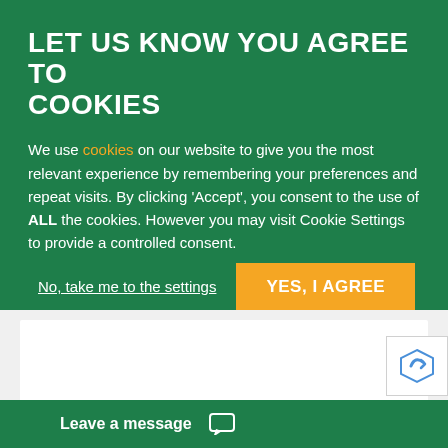LET US KNOW YOU AGREE TO COOKIES
We use cookies on our website to give you the most relevant experience by remembering your preferences and repeat visits. By clicking 'Accept', you consent to the use of ALL the cookies. However you may visit Cookie Settings to provide a controlled consent.
No, take me to the settings
YES, I AGREE
Meet the team →
Leave a message